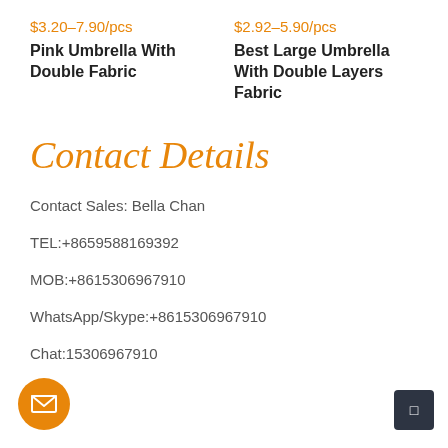$3.20–7.90/pcs
Pink Umbrella With Double Fabric
$2.92–5.90/pcs
Best Large Umbrella With Double Layers Fabric
Contact Details
Contact Sales: Bella Chan
TEL:+8659588169392
MOB:+8615306967910
WhatsApp/Skype:+8615306967910
Chat:15306967910